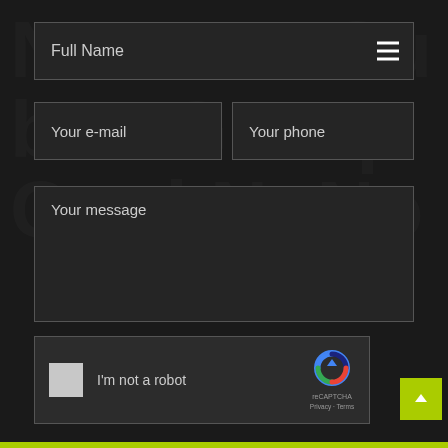Full Name
Your e-mail
Your phone
Your message
[Figure (screenshot): reCAPTCHA widget with checkbox labeled 'I'm not a robot' and reCAPTCHA logo with Privacy and Terms links]
I'm not a robot
reCAPTCHA
Privacy - Terms